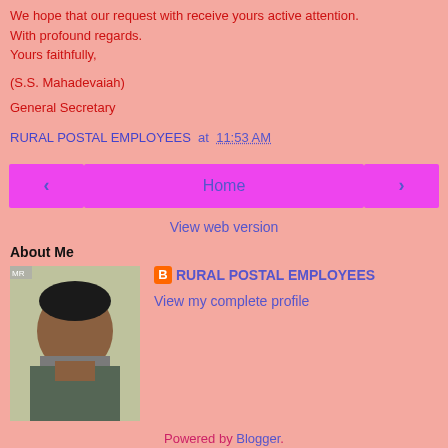We hope that our request with receive yours active attention.
With profound regards.
Yours faithfully,
(S.S. Mahadevaiah)
General Secretary
RURAL POSTAL EMPLOYEES at 11:53 AM
[Figure (other): Navigation bar with left arrow button, Home button, and right arrow button]
View web version
About Me
[Figure (photo): Profile photo of a man]
RURAL POSTAL EMPLOYEES
View my complete profile
Powered by Blogger.